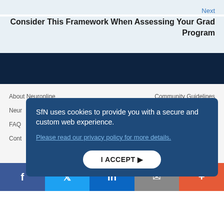Next
Consider This Framework When Assessing Your Grad Program
[Figure (other): Dark navy horizontal bar divider]
About Neuronline
Community Guidelines
Neur
FAQ
Cont
SfN uses cookies to provide you with a secure and custom web experience.
Please read our privacy policy for more details.
I ACCEPT ▶
f  🐦  in  ✉  +